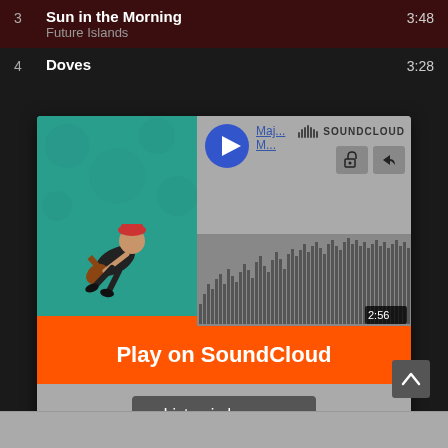3  Sun in the Morning  Future Islands  3:48
4  Doves  3:28
[Figure (screenshot): SoundCloud embedded player popup with album art showing illustrated character on teal background, play button, track names (Maj... M...), SoundCloud logo, waveform visualization with 2:56 timestamp, orange Play on SoundCloud button, Listen in browser button, and Privacy policy link]
Play on SoundCloud
Listen in browser
Privacy policy